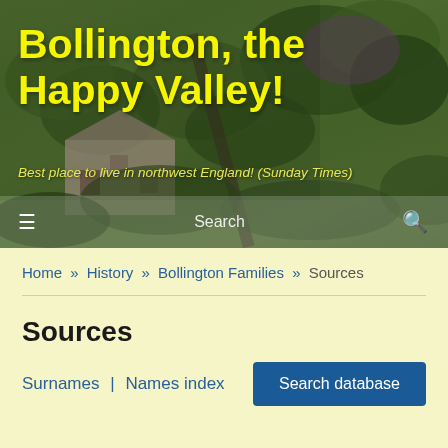[Figure (photo): Aerial/overhead photo of Bollington village showing stone buildings, green trees, and a pathway, with overlaid title text and search bar]
Bollington, the Happy Valley!
Best place to live in northwest England! (Sunday Times)
≡  Search 🔍
Home » History » Bollington Families » Sources
Sources
Surnames | Names index
Search database